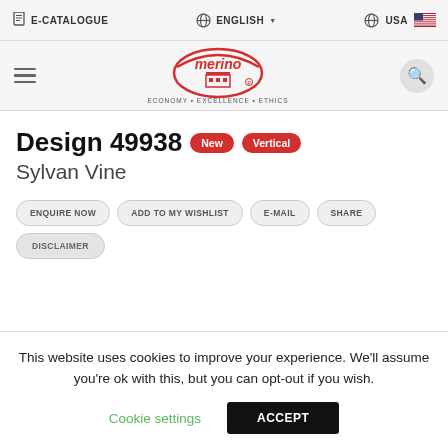E-CATALOGUE   ENGLISH   USA
[Figure (logo): Merino brand logo with red oval, building icon, text ECONOMY • EXCELLENCE • ETHICS]
Design 49938  New  Vertical
Sylvan Vine
ENQUIRE NOW
ADD TO MY WISHLIST
E-MAIL
SHARE
DISCLAIMER
This website uses cookies to improve your experience. We'll assume you're ok with this, but you can opt-out if you wish.
Cookie settings   ACCEPT